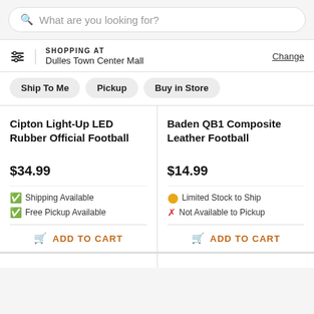What are you looking for?
SHOPPING AT
Dulles Town Center Mall
Change
Ship To Me
Pickup
Buy in Store
Cipton Light-Up LED Rubber Official Football
$34.99
Shipping Available
Free Pickup Available
ADD TO CART
Baden QB1 Composite Leather Football
$14.99
Limited Stock to Ship
Not Available to Pickup
ADD TO CART